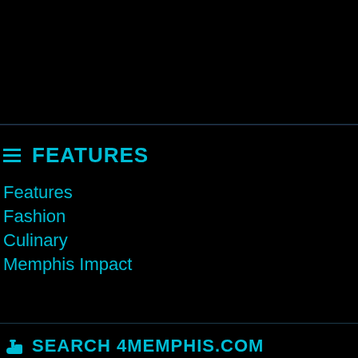≡ FEATURES
Features
Fashion
Culinary
Memphis Impact
👍 SEARCH 4MEMPHIS.COM
Search